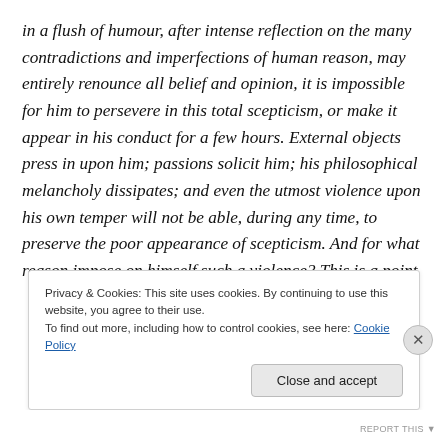in a flush of humour, after intense reflection on the many contradictions and imperfections of human reason, may entirely renounce all belief and opinion, it is impossible for him to persevere in this total scepticism, or make it appear in his conduct for a few hours. External objects press in upon him; passions solicit him; his philosophical melancholy dissipates; and even the utmost violence upon his own temper will not be able, during any time, to preserve the poor appearance of scepticism. And for what reason impose on himself such a violence? This is a point
Privacy & Cookies: This site uses cookies. By continuing to use this website, you agree to their use.
To find out more, including how to control cookies, see here: Cookie Policy